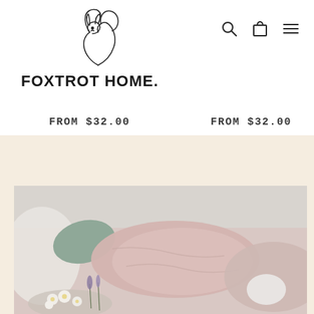[Figure (logo): Foxtrot Home logo: line-art fox above the brand name FOXTROT HOME. in bold black letters]
[Figure (illustration): Navigation icons: search (magnifying glass), cart (shopping bag outline), and hamburger menu]
FROM $32.00   FROM $32.00   FRO
[Figure (photo): Styled bedroom scene with pale pink/blush linen pillows and duvet, green sage pillow, white daisy flowers in foreground, and lavender sprigs, shot in soft natural light against a light grey wall]